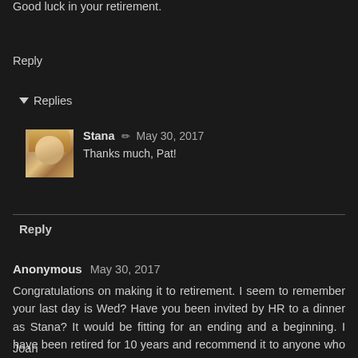Good luck in your retirement.
Reply
Replies
Stana ✏ May 30, 2017
Thanks much, Pat!
Reply
Anonymous May 30, 2017
Congratulations on making it to retirement. I seem to remember your last day is Wed? Have you been invited by HR to a dinner as Stana? It would be fitting for an ending and a beginning. I have been retired for 10 years and recommend it to anyone who can afford it.
Joan